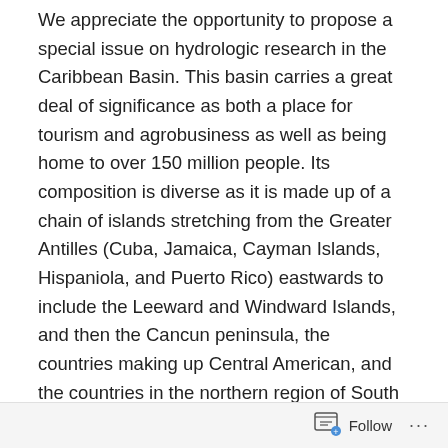We appreciate the opportunity to propose a special issue on hydrologic research in the Caribbean Basin. This basin carries a great deal of significance as both a place for tourism and agrobusiness as well as being home to over 150 million people. Its composition is diverse as it is made up of a chain of islands stretching from the Greater Antilles (Cuba, Jamaica, Cayman Islands, Hispaniola, and Puerto Rico) eastwards to include the Leeward and Windward Islands, and then the Cancun peninsula, the countries making up Central American, and the countries in the northern region of South America (Columbia and Venezuela). Climate Change is posed to have a dramatic impact on the weather patterns for this region with anticipated changes that include longer periods of droughts, an overall decline of annual rainfall volumes, and an
Follow ···